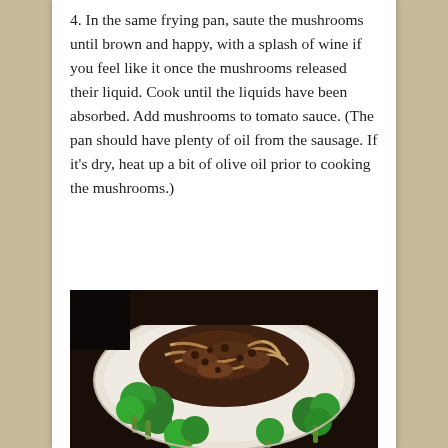4. In the same frying pan, saute the mushrooms until brown and happy, with a splash of wine if you feel like it once the mushrooms released their liquid. Cook until the liquids have been absorbed. Add mushrooms to tomato sauce. (The pan should have plenty of oil from the sausage. If it's dry, heat up a bit of olive oil prior to cooking the mushrooms.)
[Figure (photo): A plate of pasta with mushroom and meat sauce served alongside steamed broccoli on a white plate.]